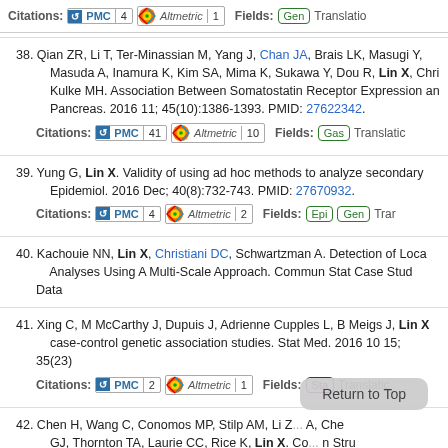Citations: PMC 4 | Altmetric 1 | Fields: Gen | Translation
38. Qian ZR, Li T, Ter-Minassian M, Yang J, Chan JA, Brais LK, Masugi Y, Masuda A, Inamura K, Kim SA, Mima K, Sukawa Y, Dou R, Lin X, Chri... Kulke MH. Association Between Somatostatin Receptor Expression an... Pancreas. 2016 11; 45(10):1386-1393. PMID: 27622342.
Citations: PMC 41 | Altmetric 10 | Fields: Gas | Translation
39. Yung G, Lin X. Validity of using ad hoc methods to analyze secondary... Epidemiol. 2016 Dec; 40(8):732-743. PMID: 27670932.
Citations: PMC 4 | Altmetric 2 | Fields: Epi Gen | Tra...
40. Kachouie NN, Lin X, Christiani DC, Schwartzman A. Detection of Loca... Analyses Using A Multi-Scale Approach. Commun Stat Case Stud Data...
41. Xing C, M McCarthy J, Dupuis J, Adrienne Cupples L, B Meigs J, Lin X... case-control genetic association studies. Stat Med. 2016 10 15; 35(23)...
Citations: PMC 2 | Altmetric 1 | Fields: Sta | Translation
42. Chen H, Wang C, Conomos MP, Stilp AM, Li Z... A, Che... GJ, Thornton TA, Laurie CC, Rice K, Lin X. Co... n Stru... Association Studies via Logistic Mixed Models. Am J Hum Genet. 2016...